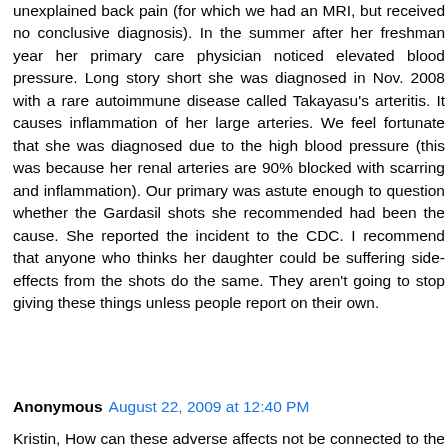unexplained back pain (for which we had an MRI, but received no conclusive diagnosis). In the summer after her freshman year her primary care physician noticed elevated blood pressure. Long story short she was diagnosed in Nov. 2008 with a rare autoimmune disease called Takayasu's arteritis. It causes inflammation of her large arteries. We feel fortunate that she was diagnosed due to the high blood pressure (this was because her renal arteries are 90% blocked with scarring and inflammation). Our primary was astute enough to question whether the Gardasil shots she recommended had been the cause. She reported the incident to the CDC. I recommend that anyone who thinks her daughter could be suffering side-effects from the shots do the same. They aren't going to stop giving these things unless people report on their own.
Reply
Anonymous August 22, 2009 at 12:40 PM
Kristin, How can these adverse affects not be connected to the vaccine when the occurences are so common?! A